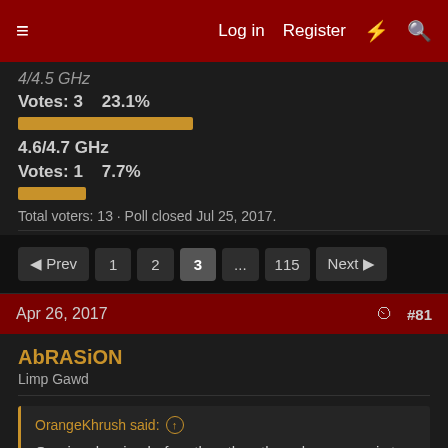Log in   Register
4/4.5 GHz
Votes: 3   23.1%
4.6/4.7 GHz
Votes: 1   7.7%
Total voters: 13 · Poll closed Jul 25, 2017.
Prev  1  2  3  ...  115  Next
Apr 26, 2017  #81
AbRASiON
Limp Gawd
OrangeKhrush said: ↑
One is releasing before the other, the sole purpose is to push product to sell, that is all intel is interested in. they have something like 27 SKU's for Kabylake, it is not like they are hard